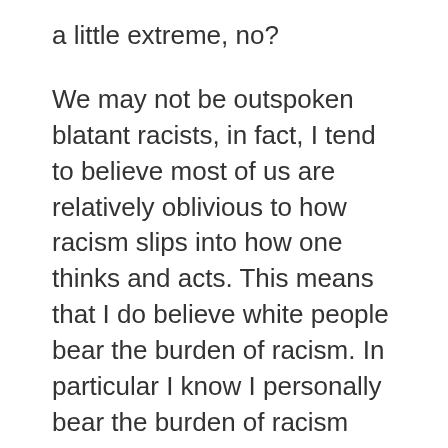a little extreme, no?
We may not be outspoken blatant racists, in fact, I tend to believe most of us are relatively oblivious to how racism slips into how one thinks and acts. This means that I do believe white people bear the burden of racism. In particular I know I personally bear the burden of racism every day. To be clear. This is not “white guilt” (or any absurd concept created by white people to avoid discussing real issues). This is about assuming some responsibility and being self aware